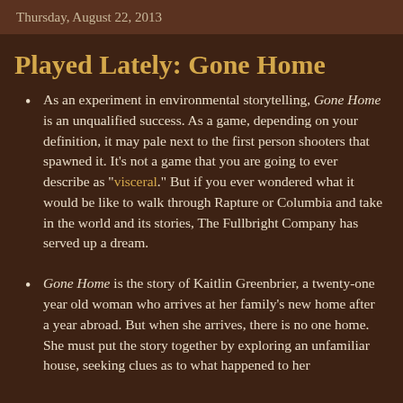Thursday, August 22, 2013
Played Lately: Gone Home
As an experiment in environmental storytelling, Gone Home is an unqualified success. As a game, depending on your definition, it may pale next to the first person shooters that spawned it. It's not a game that you are going to ever describe as "visceral." But if you ever wondered what it would be like to walk through Rapture or Columbia and take in the world and its stories, The Fullbright Company has served up a dream.
Gone Home is the story of Kaitlin Greenbrier, a twenty-one year old woman who arrives at her family's new home after a year abroad. But when she arrives, there is no one home. She must put the story together by exploring an unfamiliar house, seeking clues as to what happened to her...